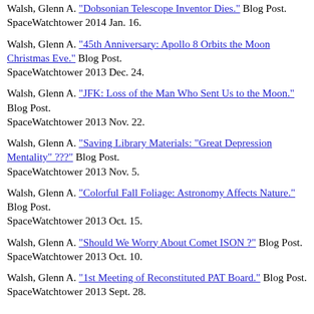Walsh, Glenn A. "Dobsonian Telescope Inventor Dies." Blog Post. SpaceWatchtower 2014 Jan. 16.
Walsh, Glenn A. "45th Anniversary: Apollo 8 Orbits the Moon Christmas Eve." Blog Post. SpaceWatchtower 2013 Dec. 24.
Walsh, Glenn A. "JFK: Loss of the Man Who Sent Us to the Moon." Blog Post. SpaceWatchtower 2013 Nov. 22.
Walsh, Glenn A. "Saving Library Materials: "Great Depression Mentality" ???" Blog Post. SpaceWatchtower 2013 Nov. 5.
Walsh, Glenn A. "Colorful Fall Foliage: Astronomy Affects Nature." Blog Post. SpaceWatchtower 2013 Oct. 15.
Walsh, Glenn A. "Should We Worry About Comet ISON ?" Blog Post. SpaceWatchtower 2013 Oct. 10.
Walsh, Glenn A. "1st Meeting of Reconstituted PAT Board." Blog Post. SpaceWatchtower 2013 Sept. 28.